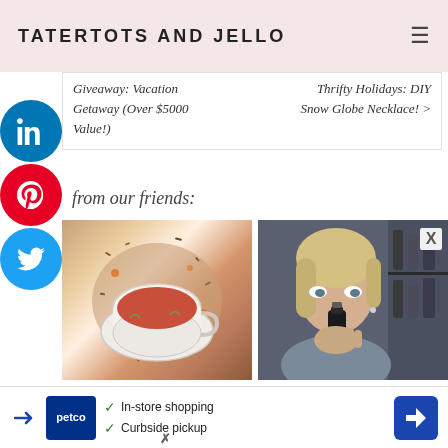TATERTOTS AND JELLO
Giveaway: Vacation Getaway (Over $5000 Value!)
Thrifty Holidays: DIY Snow Globe Necklace! >
from our friends:
[Figure (photo): Top-down view of a decorative teacup filled with reddish-orange tea, surrounded by loose herbal tea leaves and dried flowers]
[Figure (photo): Blonde woman drinking from a small dark glass bottle]
Our Beauty Teas Are Here.
New "Lung Cleaning"
[Figure (infographic): Petco advertisement banner: In-store shopping, Curbside pickup, with Petco logo and navigation arrow icon]